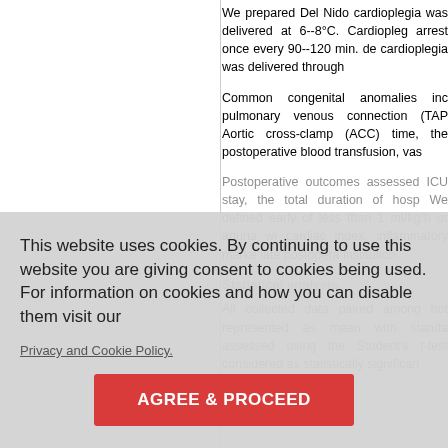We prepared Del Nido cardioplegia... was delivered at 6--8°C. Cardiopleg... arrest once every 90--120 min. de... cardioplegia was delivered through...
Common congenital anomalies inc... pulmonary venous connection (TAP... Aortic cross-clamp (ACC) time, the... postoperative blood transfusion, vas...
Postoperative outcomes assessed... ICU stay, the total duration of hosp... We defined early... of less than 1 ml/kg/h or anuria wi... cardiac index, inflammatory marke... iate postopera... institution.
Statistical analysis
All collected data paired among bot... represented as mean with standa... assessed using the Student's t-test... considered as statistically significan...
This website uses cookies. By continuing to use this website you are giving consent to cookies being used. For information on cookies and how you can disable them visit our
Privacy and Cookie Policy.